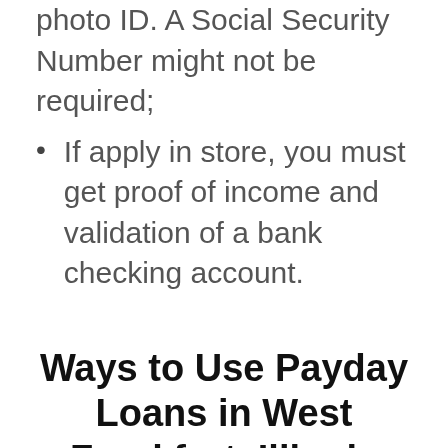bring a valid government-issued photo ID. A Social Security Number might not be required;
If apply in store, you must get proof of income and validation of a bank checking account.
Ways to Use Payday Loans in West Frankfort, Illinois